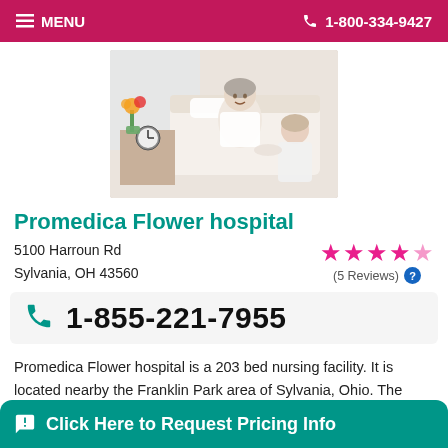≡ MENU   1-800-334-9427
[Figure (photo): Elderly woman in hospital bed speaking with a healthcare worker, with flowers and a clock on a bedside table]
Promedica Flower hospital
5100 Harroun Rd
Sylvania, OH 43560
(5 Reviews)
1-855-221-7955
Promedica Flower hospital is a 203 bed nursing facility. It is located nearby the Franklin Park area of Sylvania, Ohio. The facility is in a largely middle income area, with a m
Click Here to Request Pricing Info